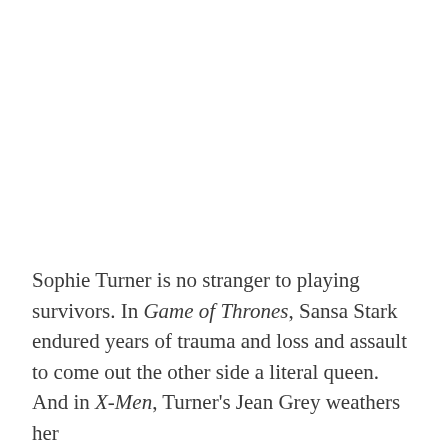Sophie Turner is no stranger to playing survivors. In Game of Thrones, Sansa Stark endured years of trauma and loss and assault to come out the other side a literal queen. And in X-Men, Turner's Jean Grey weathers her